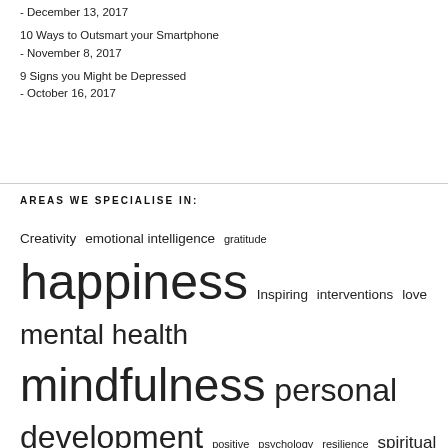- December 13, 2017
10 Ways to Outsmart your Smartphone - November 8, 2017
9 Signs you Might be Depressed - October 16, 2017
AREAS WE SPECIALISE IN:
Creativity emotional intelligence gratitude happiness Inspiring interventions love mental health mindfulness personal development positive psychology resilience spiritual growth wellbeing wisdom